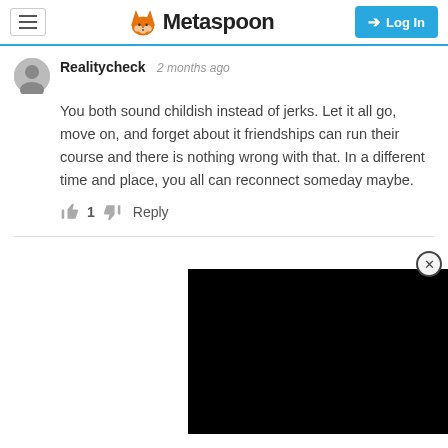Metaspoon — Log In
Realitycheck   2 months ago
You both sound childish instead of jerks. Let it all go, move on, and forget about it friendships can run their course and there is nothing wrong with that. In a different time and place, you all can reconnect someday maybe.
👍 1 👎 Reply
[Figure (screenshot): Black video/ad player rectangle in the lower-right corner with a close (X) button in a circle above it]